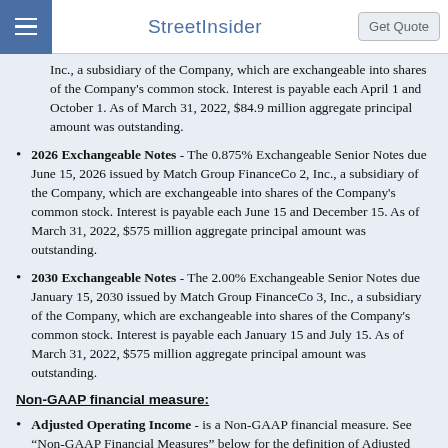StreetInsider
Inc., a subsidiary of the Company, which are exchangeable into shares of the Company's common stock. Interest is payable each April 1 and October 1. As of March 31, 2022, $84.9 million aggregate principal amount was outstanding.
2026 Exchangeable Notes - The 0.875% Exchangeable Senior Notes due June 15, 2026 issued by Match Group FinanceCo 2, Inc., a subsidiary of the Company, which are exchangeable into shares of the Company's common stock. Interest is payable each June 15 and December 15. As of March 31, 2022, $575 million aggregate principal amount was outstanding.
2030 Exchangeable Notes - The 2.00% Exchangeable Senior Notes due January 15, 2030 issued by Match Group FinanceCo 3, Inc., a subsidiary of the Company, which are exchangeable into shares of the Company's common stock. Interest is payable each January 15 and July 15. As of March 31, 2022, $575 million aggregate principal amount was outstanding.
Non-GAAP financial measure:
Adjusted Operating Income - is a Non-GAAP financial measure. See “Non-GAAP Financial Measures” below for the definition of Adjusted Operating Income and a reconciliation of net earnings attributable to Match Group, Inc. shareholders to operating income and Adjusted Operating Income.